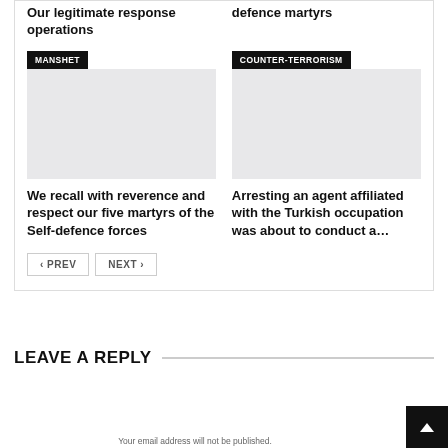Our legitimate response operations
defence martyrs
[Figure (screenshot): Article card with MANSHET badge and gray image placeholder]
We recall with reverence and respect our five martyrs of the Self-defence forces
[Figure (screenshot): Article card with COUNTER-TERRORISM badge and gray image placeholder]
Arresting an agent affiliated with the Turkish occupation was about to conduct a…
« PREV
NEXT »
LEAVE A REPLY
Your email address will not be published.